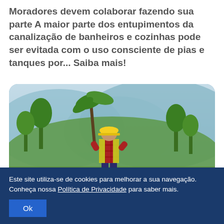Moradores devem colaborar fazendo sua parte A maior parte dos entupimentos da canalização de banheiros e cozinhas pode ser evitada com o uso consciente de pias e tanques por... Saiba mais!
[Figure (photo): A worker wearing a yellow hard hat and yellow safety vest over a red plaid shirt, bending over and working outdoors. Background shows green tropical trees and a hazy blue-green mountainous landscape.]
Este site utiliza-se de cookies para melhorar a sua navegação. Conheça nossa Política de Privacidade para saber mais.
Ok